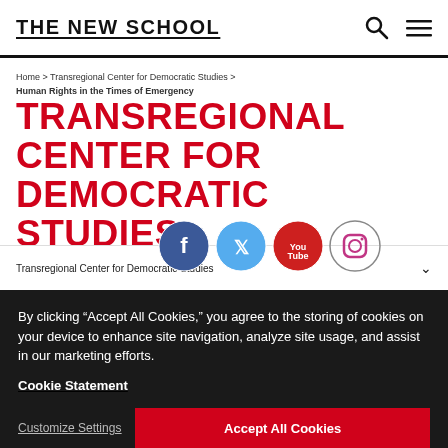THE NEW SCHOOL
Home > Transregional Center for Democratic Studies > Human Rights in the Times of Emergency
TRANSREGIONAL CENTER FOR DEMOCRATIC STUDIES
Transregional Center for Democratic Studies
[Figure (other): Social media icons: Facebook, Twitter, YouTube, Instagram]
By clicking "Accept All Cookies," you agree to the storing of cookies on your device to enhance site navigation, analyze site usage, and assist in our marketing efforts.
Cookie Statement
Customize Settings
Accept All Cookies